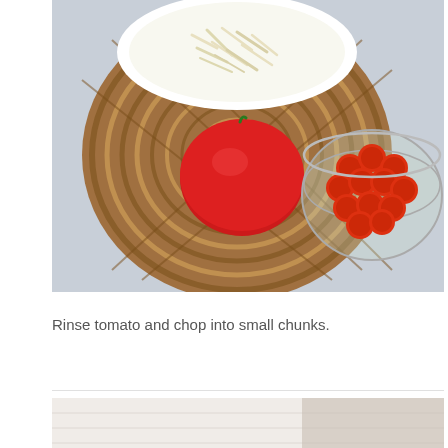[Figure (photo): Overhead view of pizza ingredients on a woven circular placemat on a light blue surface. A white plate with shredded mozzarella cheese is at the top, a red tomato sits in the center-left of the mat, and a glass bowl filled with sliced pepperoni is on the right side.]
Rinse tomato and chop into small chunks.
[Figure (photo): Partial view of a light-colored surface, possibly the beginning of the next step image.]